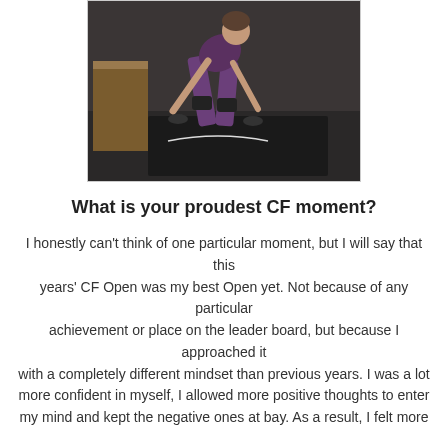[Figure (photo): Athlete performing a box jump or burpee over a plyo box in a gym setting, wearing purple leggings and knee sleeves, bending forward with hands near the ground on a black mat.]
What is your proudest CF moment?
I honestly can't think of one particular moment, but I will say that this years' CF Open was my best Open yet. Not because of any particular achievement or place on the leader board, but because I approached it with a completely different mindset than previous years. I was a lot more confident in myself, I allowed more positive thoughts to enter my mind and kept the negative ones at bay. As a result, I felt more